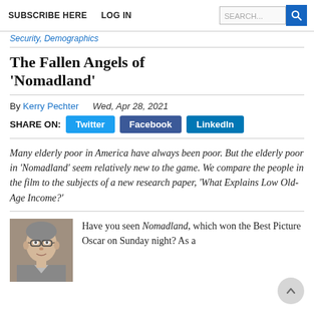SUBSCRIBE HERE   LOG IN
Security, Demographics
The Fallen Angels of 'Nomadland'
By Kerry Pechter   Wed, Apr 28, 2021
SHARE ON: Twitter  Facebook  LinkedIn
Many elderly poor in America have always been poor. But the elderly poor in 'Nomadland' seem relatively new to the game. We compare the people in the film to the subjects of a new research paper, 'What Explains Low Old-Age Income?'
[Figure (photo): Headshot of Kerry Pechter, a middle-aged man with glasses and grey hair]
Have you seen Nomadland, which won the Best Picture Oscar on Sunday night? As a